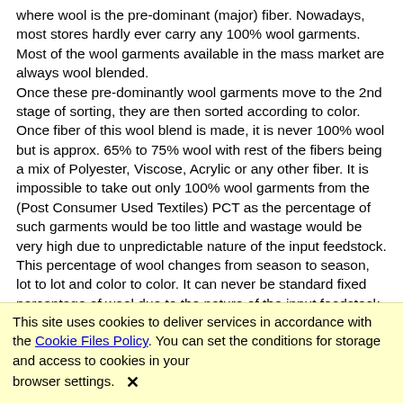where wool is the pre-dominant (major) fiber. Nowadays, most stores hardly ever carry any 100% wool garments. Most of the wool garments available in the mass market are always wool blended. Once these pre-dominantly wool garments move to the 2nd stage of sorting, they are then sorted according to color. Once fiber of this wool blend is made, it is never 100% wool but is approx. 65% to 75% wool with rest of the fibers being a mix of Polyester, Viscose, Acrylic or any other fiber. It is impossible to take out only 100% wool garments from the (Post Consumer Used Textiles) PCT as the percentage of such garments would be too little and wastage would be very high due to unpredictable nature of the input feedstock. This percentage of wool changes from season to season, lot to lot and color to color. It can never be standard fixed percentage of wool due to the nature of the input feedstock. Now once these wool garments are shredded into fiber, approximately 10-15% rPET (recycled polyester) is added in it. The rPet added depends on the count of the
This site uses cookies to deliver services in accordance with the Cookie Files Policy. You can set the conditions for storage and access to cookies in your browser settings. ✕